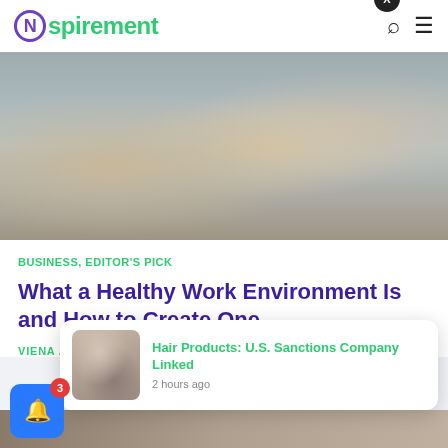Nspirement
[Figure (photo): People working at a conference table with laptops in an office setting]
BUSINESS, EDITOR'S PICK
What a Healthy Work Environment Is and How to Create One
VIENA ABDON
[Figure (photo): Hair product notification thumbnail]
Hair Products: U.S. Sanctions Company Linked
2 hours ago